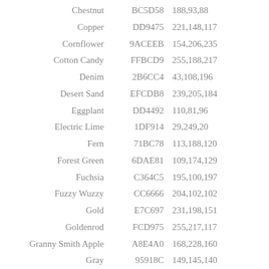| Name | Hex | RGB |
| --- | --- | --- |
| Chestnut | BC5D58 | 188,93,88 |
| Copper | DD9475 | 221,148,117 |
| Cornflower | 9ACEEB | 154,206,235 |
| Cotton Candy | FFBCD9 | 255,188,217 |
| Denim | 2B6CC4 | 43,108,196 |
| Desert Sand | EFCDB8 | 239,205,184 |
| Eggplant | DD4492 | 110,81,96 |
| Electric Lime | 1DF914 | 29,249,20 |
| Fern | 71BC78 | 113,188,120 |
| Forest Green | 6DAE81 | 109,174,129 |
| Fuchsia | C364C5 | 195,100,197 |
| Fuzzy Wuzzy | CC6666 | 204,102,102 |
| Gold | E7C697 | 231,198,151 |
| Goldenrod | FCD975 | 255,217,117 |
| Granny Smith Apple | A8E4A0 | 168,228,160 |
| Gray | 95918C | 149,145,140 |
| Green | 1CAC78 | 28,172,120 |
| Green Yellow | F0E891 | 240,232,145 |